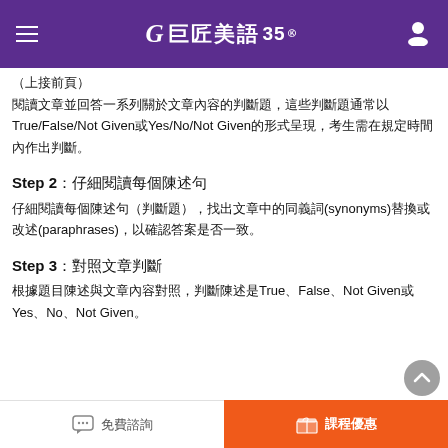巨匠美語35周年 (G logo, user icon)
（上接前頁）
閱讀文章並回答一系列關於文章內容的判斷題，這些判斷題通常以True/False/Not Given或Yes/No/Not Given的形式呈現，考生需在規定時間內作出判斷。
Step 2：仔細閱讀每個陳述句
仔細閱讀每個陳述句（判斷題），找出文章中的同義詞(synonyms)替換或改述(paraphrases)，以確認答案是否一致。
Step 3：對照文章判斷
根據題目陳述與文章內容對照，判斷陳述是True、False、Not Given或Yes、No、Not Given。
免費諮詢 | 課程優惠